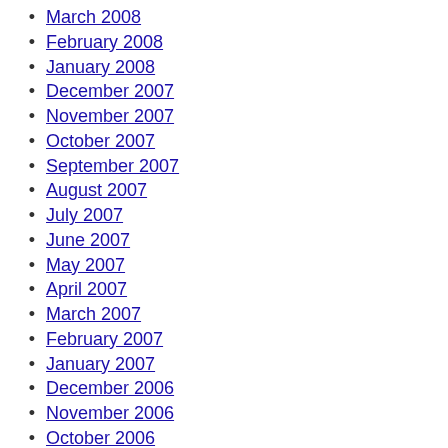March 2008
February 2008
January 2008
December 2007
November 2007
October 2007
September 2007
August 2007
July 2007
June 2007
May 2007
April 2007
March 2007
February 2007
January 2007
December 2006
November 2006
October 2006
September 2006
August 2006
July 2006